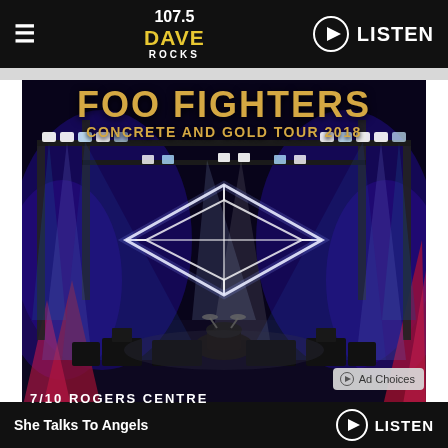107.5 DAVE ROCKS — LISTEN
[Figure (photo): Foo Fighters Concrete and Gold Tour 2018 concert stage photo with blue and purple stage lighting, large illuminated diamond-shaped Foo Fighters logo structure, laser lights, stage equipment, with text overlay 'FOO FIGHTERS CONCRETE AND GOLD TOUR 2018']
Ad Choices
ROGERS CENTRE
She Talks To Angels — LISTEN